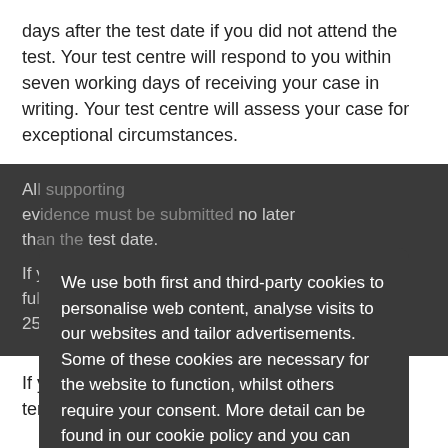days after the test date if you did not attend the test. Your test centre will respond to you within seven working days of receiving your case in writing. Your test centre will assess your case for exceptional circumstances.
All supporting evidence must be submitted no later than the test date.
If you wish to have a full refund of no more than 25...
If you... the terms...
We define exceptional circumstances as:
[Figure (screenshot): Cookie consent modal overlay on dark background. Contains text: 'We use both first and third-party cookies to personalise web content, analyse visits to our websites and tailor advertisements. Some of these cookies are necessary for the website to function, whilst others require your consent. More detail can be found in our cookie policy and you can tailor your choices in the preference centre.' A green 'Accept All Cookies' button and a 'Cookies Settings' link below.]